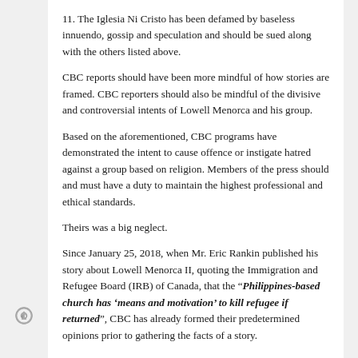11. The Iglesia Ni Cristo has been defamed by baseless innuendo, gossip and speculation and should be sued along with the others listed above.
CBC reports should have been more mindful of how stories are framed. CBC reporters should also be mindful of the divisive and controversial intents of Lowell Menorca and his group.
Based on the aforementioned, CBC programs have demonstrated the intent to cause offence or instigate hatred against a group based on religion. Members of the press should and must have a duty to maintain the highest professional and ethical standards.
Theirs was a big neglect.
Since January 25, 2018, when Mr. Eric Rankin published his story about Lowell Menorca II, quoting the Immigration and Refugee Board (IRB) of Canada, that the “Philippines-based church has ‘means and motivation’ to kill refugee if returned”, CBC has already formed their predetermined opinions prior to gathering the facts of a story.